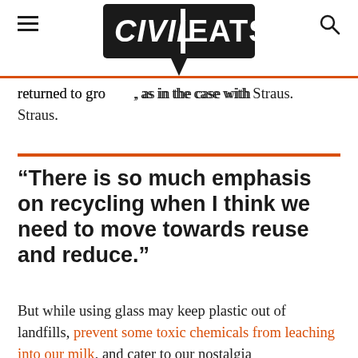Civil Eats
returned to gro[wers], as in the case with Straus.
“There is so much emphasis on recycling when I think we need to move towards reuse and reduce.”
But while using glass may keep plastic out of landfills, prevent some toxic chemicals from leaching into our milk, and cater to our nostalgia